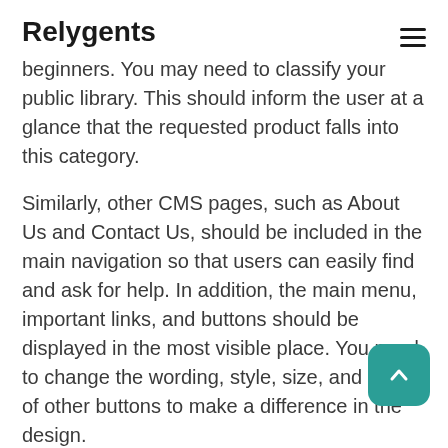Relygents
beginners. You may need to classify your public library. This should inform the user at a glance that the requested product falls into this category.
Similarly, other CMS pages, such as About Us and Contact Us, should be included in the main navigation so that users can easily find and ask for help. In addition, the main menu, important links, and buttons should be displayed in the most visible place. You need to change the wording, style, size, and color of other buttons to make a difference in the design.